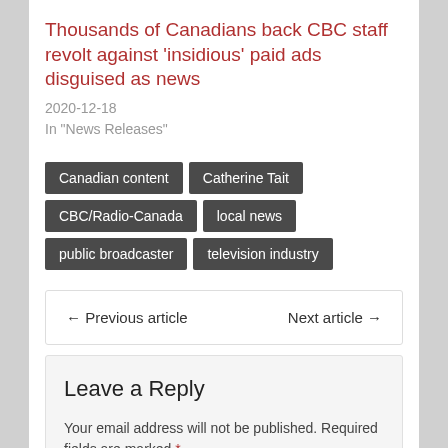Thousands of Canadians back CBC staff revolt against 'insidious' paid ads disguised as news
2020-12-18
In "News Releases"
Canadian content
Catherine Tait
CBC/Radio-Canada
local news
public broadcaster
television industry
← Previous article
Next article →
Leave a Reply
Your email address will not be published. Required fields are marked *